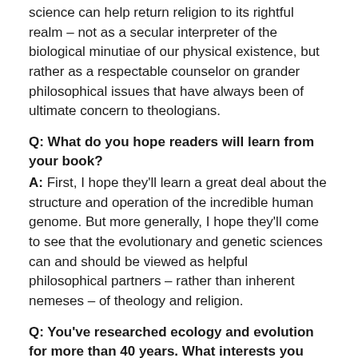science can help return religion to its rightful realm – not as a secular interpreter of the biological minutiae of our physical existence, but rather as a respectable counselor on grander philosophical issues that have always been of ultimate concern to theologians.
Q: What do you hope readers will learn from your book?
A: First, I hope they'll learn a great deal about the structure and operation of the incredible human genome. But more generally, I hope they'll come to see that the evolutionary and genetic sciences can and should be viewed as helpful philosophical partners – rather than inherent nemeses – of theology and religion.
Q: You've researched ecology and evolution for more than 40 years. What interests you most about these fields?
A: My academic “grandfather,” Theodosius Dobzhansky, once wrote that “nothing in biology